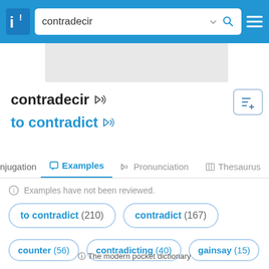[Figure (screenshot): Blue top navigation bar with app logo, search box containing 'contradecir', chevron, search icon, and hamburger menu]
contradecir
to contradict
Examples (tab active)
Examples have not been reviewed.
to contradict (210)
contradict (167)
counter (56)
contradicting (40)
gainsay (15)
ⓘ The modern pocket dictionary